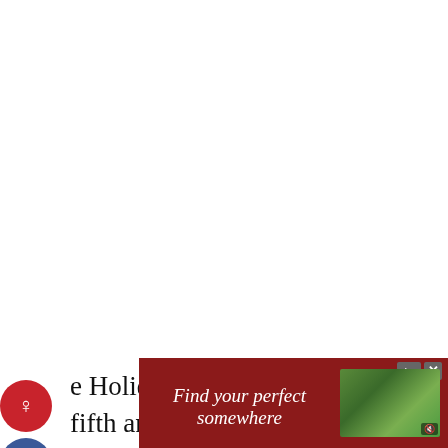e Holiday Stashdown CAL is the fifth and final crochet along of 2021 hosted in the CAL Central [Facebook] and [Ravelry] groups. We've brought ether 22 of your favorite crochet designers to bring you free crochet patterns for winter holiday gifts, decorations, gift wrap, and more! Join us to make wonderful projects, chat with other crocheters, and enter for your chance to win a prize!
[Figure (other): Advertisement banner with dark red background showing 'Find your perfect somewhere' text with decorative imagery on the right side]